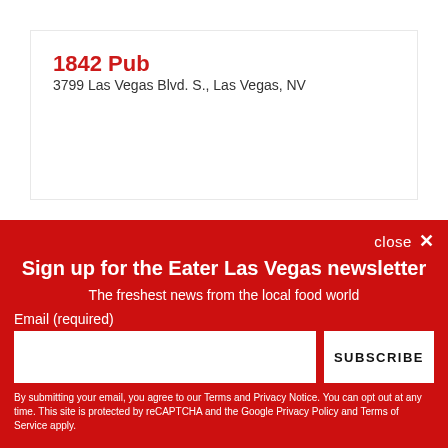1842 Pub
3799 Las Vegas Blvd. S., Las Vegas, NV
close ✕
Sign up for the Eater Las Vegas newsletter
The freshest news from the local food world
Email (required)
SUBSCRIBE
By submitting your email, you agree to our Terms and Privacy Notice. You can opt out at any time. This site is protected by reCAPTCHA and the Google Privacy Policy and Terms of Service apply.